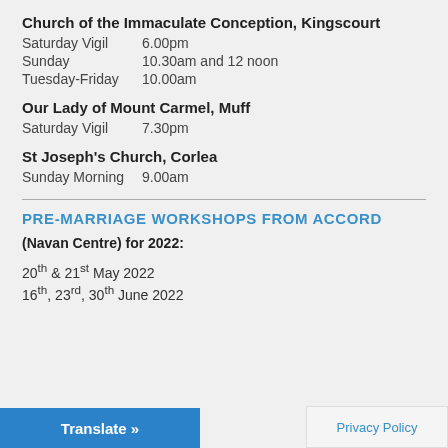Church of the Immaculate Conception, Kingscourt
Saturday Vigil    6.00pm
Sunday    10.30am and 12 noon
Tuesday-Friday   10.00am
Our Lady of Mount Carmel, Muff
Saturday Vigil    7.30pm
St Joseph's Church, Corlea
Sunday Morning   9.00am
PRE-MARRIAGE WORKSHOPS FROM ACCORD
(Navan Centre) for 2022:
20th & 21st May 2022
16th, 23rd, 30th June 2022
Translate »
Privacy Policy